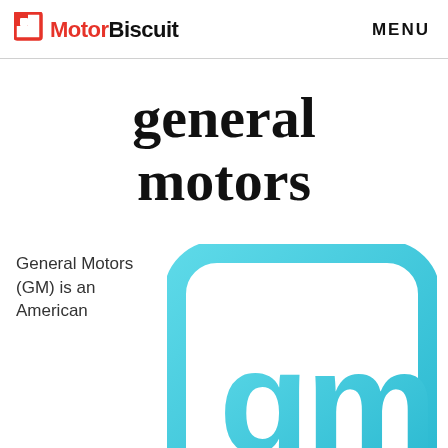MotorBiscuit  MENU
general motors
General Motors (GM) is an American
[Figure (logo): General Motors GM logo — rounded square outline with 'gm' letters in cyan/teal blue gradient, partially cropped at bottom of page]